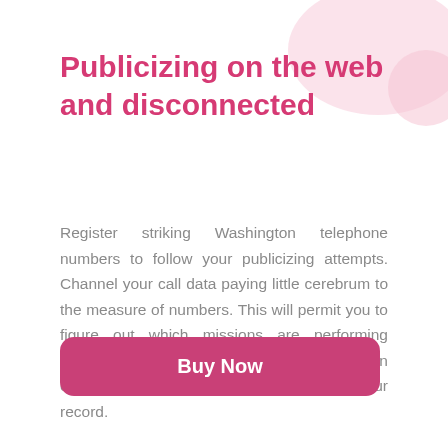Publicizing on the web and disconnected
Register striking Washington telephone numbers to follow your publicizing attempts. Channel your call data paying little cerebrum to the measure of numbers. This will permit you to figure out which missions are performing marvelously. Completing a mission, you can either use it again or obliterate it from your record.
Buy Now